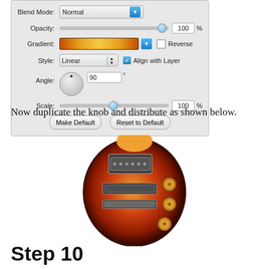[Figure (screenshot): Photoshop layer style gradient overlay dialog panel showing Blend Mode: Normal, Opacity: 100%, Gradient bar (orange-gold), Reverse checkbox, Style: Linear with Align with Layer checkbox, Angle: 90 degrees with dial, Scale: 100%, Make Default and Reset to Default buttons]
Now duplicate the knob and distribute as shown below.
[Figure (illustration): A guitar body (Les Paul style) with sunburst finish in red and orange, showing pickups, bridge, and gold control knobs on the right side]
Step 10